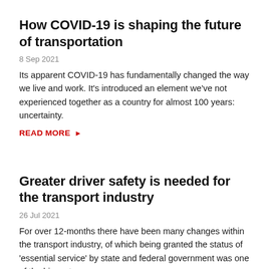How COVID-19 is shaping the future of transportation
8 Sep 2021
Its apparent COVID-19 has fundamentally changed the way we live and work. It's introduced an element we've not experienced together as a country for almost 100 years: uncertainty.
READ MORE ▶
Greater driver safety is needed for the transport industry
26 Jul 2021
For over 12-months there have been many changes within the transport industry, of which being granted the status of 'essential service' by state and federal government was one of the biggest.
READ MORE ▶